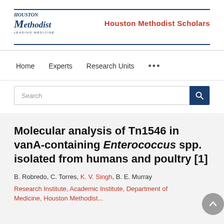Houston Methodist Scholars
Home   Experts   Research Units   ...
Search
Molecular analysis of Tn1546 in vanA-containing Enterococcus spp. isolated from humans and poultry [1]
B. Robredo, C. Torres, K. V. Singh, B. E. Murray
Research Institute, Academic Institute, Department of Medicine, Houston Methodist...